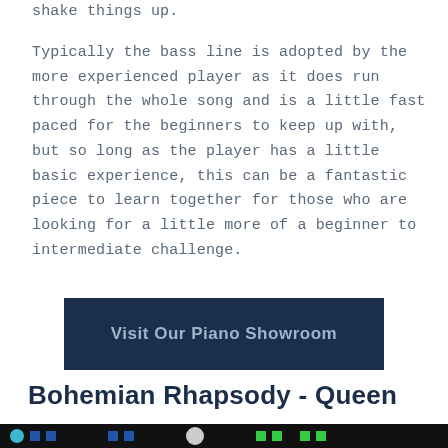shake things up.
Typically the bass line is adopted by the more experienced player as it does run through the whole song and is a little fast paced for the beginners to keep up with, but so long as the player has a little basic experience, this can be a fantastic piece to learn together for those who are looking for a little more of a beginner to intermediate challenge.
[Figure (other): Dark navy blue button with text 'Visit Our Piano Showroom']
Bohemian Rhapsody - Queen
[Figure (screenshot): Bottom strip showing a dark image with colorful dots and squares]